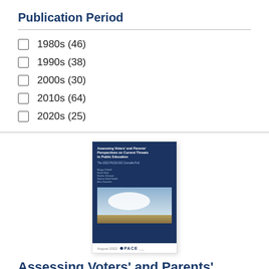Publication Period
1980s (46)
1990s (38)
2000s (30)
2010s (64)
2020s (25)
[Figure (illustration): Book cover of 'Assessing Voters' and Parents' Perspectives on Current Threats to Public Education' — dark navy blue cover with cloud/sky image and PACE logo at bottom]
Assessing Voters' and Parents'